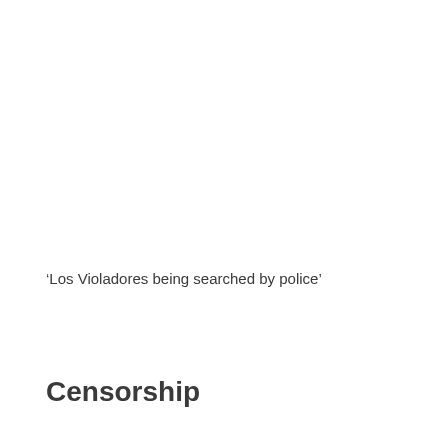‘Los Violadores being searched by police’
Censorship